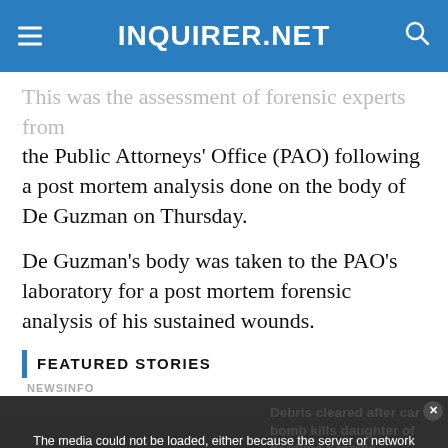INQUIRER.NET
This was the assessment of forensic experts from the Public Attorneys' Office (PAO) following a post mortem analysis done on the body of De Guzman on Thursday.
De Guzman's body was taken to the PAO's laboratory for a post mortem forensic analysis of his sustained wounds.
FEATURED STORIES
NEWSINFO
[Figure (screenshot): Video player overlay showing error message: 'The media could not be loaded, either because the server or network failed or because the format is not supported.' Overlaid on a dark video thumbnail showing people at a scene. Right side shows text: 'Debris cleared after car bomb kills daughter of hardline Kremlin ideologue'. Bottom overlay text: 'DEBRIS CLEARED AFTER CAR BOMB KILLS DAUGHTER OF HARDLINE KREMLIN IDEOLOGUE'. Orange chat button and close X button visible.]